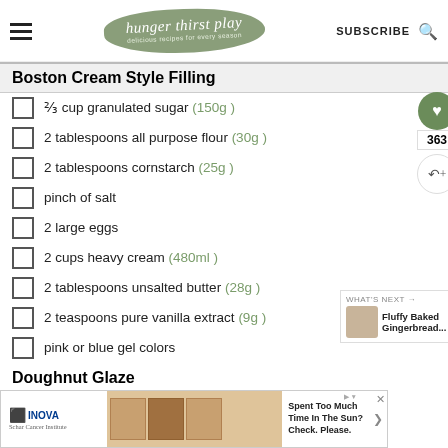hunger thirst play — delicious recipes for every season — SUBSCRIBE
Boston Cream Style Filling
⅔ cup granulated sugar (150g)
2 tablespoons all purpose flour (30g)
2 tablespoons cornstarch (25g)
pinch of salt
2 large eggs
2 cups heavy cream (480ml)
2 tablespoons unsalted butter (28g)
2 teaspoons pure vanilla extract (9g)
pink or blue gel colors
Doughnut Glaze
2 cups confectioner's sugar (220g)